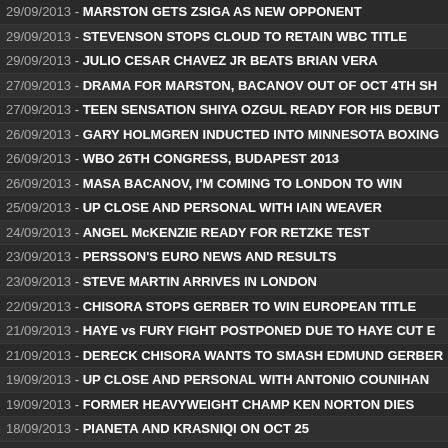29/09/2013 - MARSTON GETS ZSIGA AS NEW OPPONENT
29/09/2013 - STEVENSON STOPS CLOUD TO RETAIN WBC TITLE
29/09/2013 - JULIO CESAR CHAVEZ JR BEATS BRIAN VERA
27/09/2013 - DRAMA FOR MARSTON, BACANOV OUT OF OCT 4TH SH
27/09/2013 - TEEN SENSATION SHIYA OZGUL READY FOR HIS DEBUT
26/09/2013 - GARY HOLMGREN INDUCTED INTO MINNESOTA BOXING
26/09/2013 - WBO 26TH CONGRESS, BUDAPEST 2013
26/09/2013 - MASA BACANOV, I'M COMING TO LONDON TO WIN
25/09/2013 - UP CLOSE AND PERSONAL WITH IAIN WEAVER
24/09/2013 - ANGEL McKENZIE READY FOR RETZKE TEST
23/09/2013 - PERSSON'S EURO NEWS AND RESULTS
23/09/2013 - STEVE MARTIN ARRIVES IN LONDON
22/09/2013 - CHISORA STOPS GERBER TO WIN EUROPEAN TITLE
21/09/2013 - HAYE vs FURY FIGHT POSTPONED DUE TO HAYE CUT E
21/09/2013 - DERECK CHISORA WANTS TO SMASH EDMUND GERBER
19/09/2013 - UP CLOSE AND PERSONAL WITH ANTONIO COUNIHAN
19/09/2013 - FORMER HEAVYWEIGHT CHAMP KEN NORTON DIES
18/09/2013 - PIANETA AND KRASNIQI ON OCT 25
17/09/2013 - LINE-UP FOR OCTOBER 18TH YORK HALL EVENT
16/09/2013 - PERSSON'S EURO NEWS
16/09/2013 - ABRAHAM BACK IN ACTION OCT 26
16/09/2013 - WORLD BOXING FEDERATION NEWSLETTER
16/09/2013 - GARCIA UPSETS MATTHYSSE
15/09/2013 - MAYWEATHER SCORED A ONE-SIDED 12 ROUND OVER
15/09/2013 - MAYWEATHER vs CANENO, TOP GRADE NEWS AND ANA
13/09/2013 - MAYWEATHER-ALVAREZ, GARCIA-MATTHYSSE FIGHTS
13/09/2013 - PERSSON'S EURO NEWS AND RESULTS